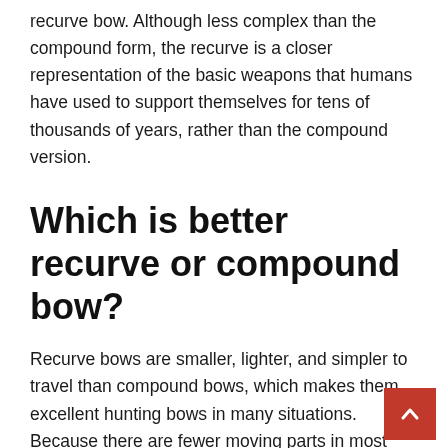recurve bow. Although less complex than the compound form, the recurve is a closer representation of the basic weapons that humans have used to support themselves for tens of thousands of years, rather than the compound version.
Which is better recurve or compound bow?
Recurve bows are smaller, lighter, and simpler to travel than compound bows, which makes them excellent hunting bows in many situations. Because there are fewer moving parts in most compound bows, they are also easier to repair. Known as compound bows, they are a contemporary relative of the